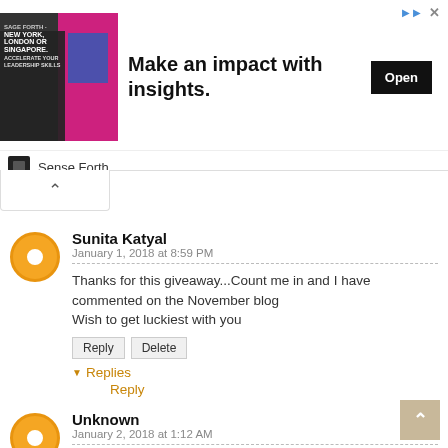[Figure (infographic): Advertisement banner: Make an impact with insights. Image shows a person in business attire with text NEW YORK, LONDON OR SINGAPORE. Open button on right. Sense Forth sponsor logo below.]
Sunita Katyal
January 1, 2018 at 8:59 PM
Thanks for this giveaway...Count me in and I have commented on the November blog
Wish to get luckiest with you
Reply   Delete
▼ Replies
Reply
Unknown
January 2, 2018 at 1:12 AM
Happy to follow and read your posts!

Should you pick my name, pls donate the giveaway amount to any charity of your choice.